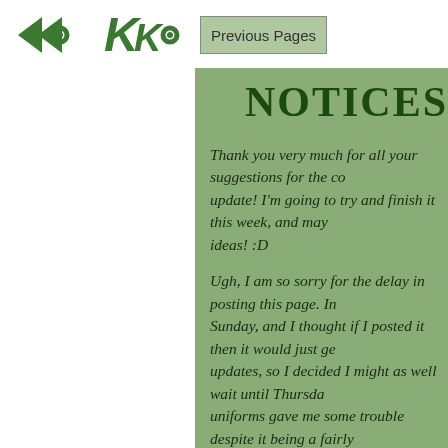Previous Pages
NOTICES
Thank you very much for all your suggestions for the co... update! I'm going to try and finish it this week, and may... ideas! :D
Ugh, I am so sorry for the delay in posting this page. In... Sunday, and I thought if I posted it then it would just ge... updates, so I decided I might as well wait until Thursda... uniforms gave me some trouble despite it being a fairly... whole bunch of internet searching, but there are proba...
I swear this story keeps finding new ways to stress me o... whole thing looks like a bit of a weird choice anyway. A... guy who doesn't talk much, and has virtually nothing to... by the way it's pretty dark and there are almost no jokes... taking this story on - it's one I've been wanting to do fo... learning from it (for instance, I've never done so many c... life). It's just been rather outside my comfort zone, and...